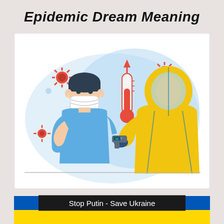Epidemic Dream Meaning
[Figure (illustration): Illustration of a person wearing a face mask being temperature-checked by a healthcare worker in a yellow hazmat suit holding an infrared thermometer. Red virus particles float in the background along with a large red thermometer showing high temperature with an upward arrow. The scene has a light blue background shape.]
Stop Putin - Save Ukraine